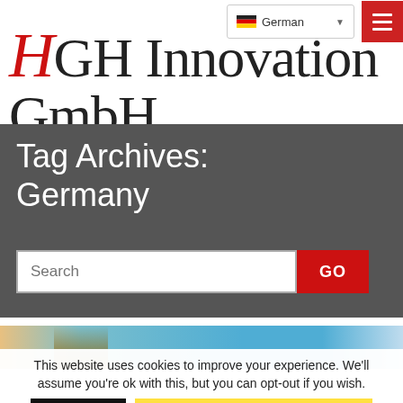German
HGH Innovation GmbH
Tag Archives: Germany
[Figure (screenshot): Search bar with text input and red GO button on dark grey background]
[Figure (photo): Partial photo strip showing sky and a silhouette figure]
This website uses cookies to improve your experience. We'll assume you're ok with this, but you can opt-out if you wish.
Accept | Read More - Datenschutzerklärung